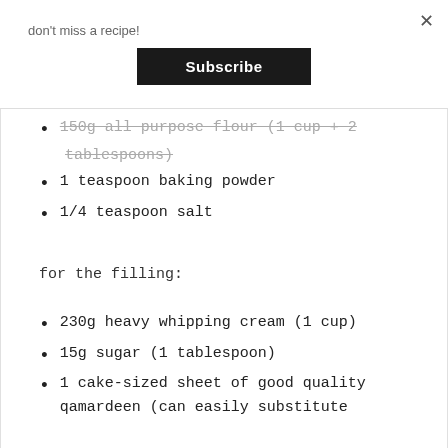don't miss a recipe!
[Figure (other): Subscribe button UI element]
150g all purpose flour (1 cup + 2 tablespoons)
1 teaspoon baking powder
1/4 teaspoon salt
for the filling:
230g heavy whipping cream (1 cup)
15g sugar (1 tablespoon)
1 cake-sized sheet of good quality qamardeen (can easily substitute